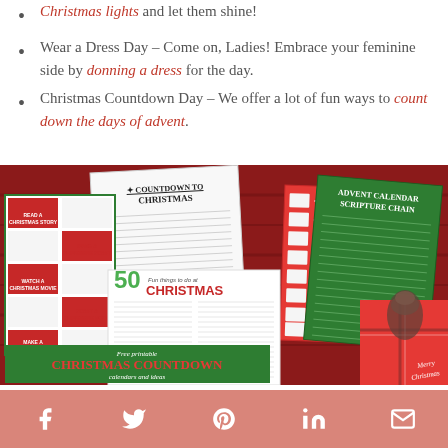Christmas lights and let them shine!
Wear a Dress Day – Come on, Ladies! Embrace your feminine side by donning a dress for the day.
Christmas Countdown Day – We offer a lot of fun ways to count down the days of advent.
[Figure (photo): A collection of Christmas printable activity sheets laid out on a red wooden background, including a 'Countdown to Christmas' sheet, '50 Fun Things to Do at Christmas' list, an Advent Calendar Scripture Chain (green), a red checklist, and a green activity grid. At the bottom a green banner reads 'Free printable CHRISTMAS COUNTDOWN calendars and ideas'. A red gift box with a tartan bow is in the corner.]
Facebook  Twitter  Pinterest  LinkedIn  Email